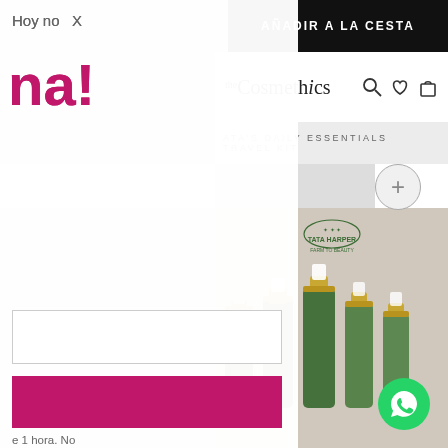[Figure (screenshot): Website screenshot of theCosmethics shop showing a product page for Tata Harper Daily Essentials Travel Kit, with an Add to Cart button at top, the store logo and navigation icons, product title, a plus button, and product image with cosmetic bottles. A WhatsApp chat button appears bottom-right.]
Hoy no  X
na!
e 1 hora. No
AÑADIR A LA CESTA
theCosmethics
ATA'S DAILY ESSENTIALS TRAVEL KIT